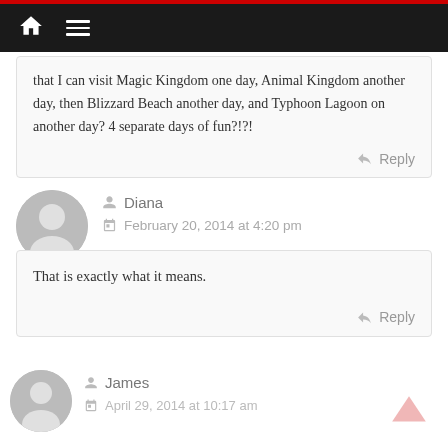Navigation bar with home icon and menu icon
that I can visit Magic Kingdom one day, Animal Kingdom another day, then Blizzard Beach another day, and Typhoon Lagoon on another day? 4 separate days of fun?!?!
Reply
Diana
February 20, 2014 at 4:20 pm
That is exactly what it means.
Reply
James
April 29, 2014 at 10:17 am